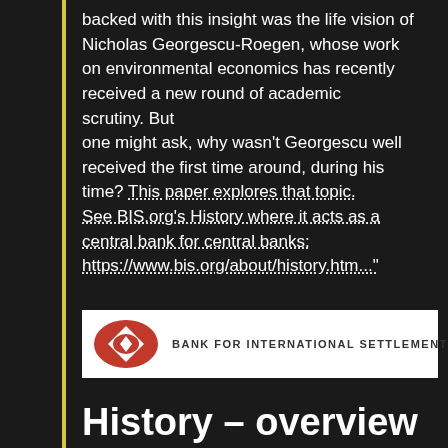backed with this insight was the life vision of Nicholas Georgescu-Roegen, whose work on environmental economics has recently received a new round of academic scrutiny. But one might ask, why wasn't Georgescu well received the first time around, during his time? This paper explores that topic. See BIS.org's History where it acts as a central bank for central banks: https://www.bis.org/about/history.htm..."
[Figure (logo): Bank for International Settlements logo — red oval/diamond emblem with white diamond inside, and text 'BANK FOR INTERNATIONAL SETTLEMENTS' in spaced capitals on white background]
History – overview